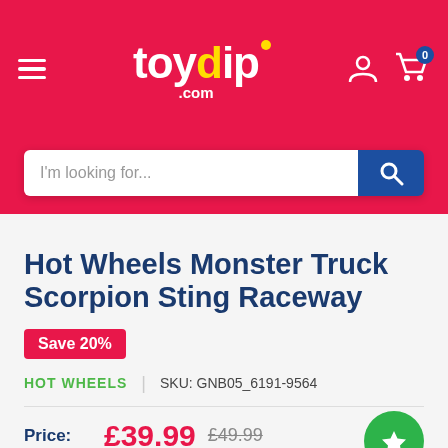[Figure (logo): toydip.com website logo and navigation header with hamburger menu, logo, account icon and cart icon showing 0 items]
[Figure (screenshot): Search bar with placeholder text 'I'm looking for...' and blue search button]
Hot Wheels Monster Truck Scorpion Sting Raceway
Save 20%
HOT WHEELS | SKU: GNB05_6191-9564
Price: £39.99 £49.99
Stock: In stock (45 units), ready to be shipped